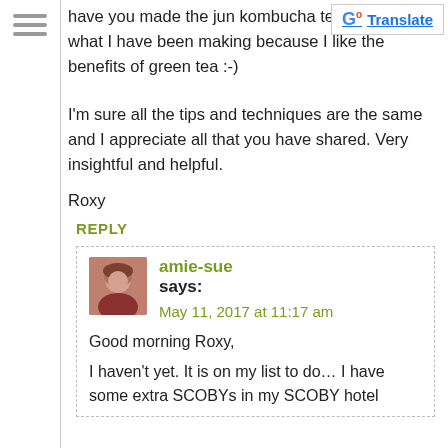[Figure (other): Hamburger menu icon (three horizontal lines)]
[Figure (other): Google Translate button with G logo]
have you made the jun kombucha tea what I have been making because I like the benefits of green tea :-)
I'm sure all the tips and techniques are the same and I appreciate all that you have shared. Very insightful and helpful.
Roxy
REPLY
[Figure (photo): Avatar photo of amie-sue, a woman with reddish hair wearing a red top]
amie-sue says:
May 11, 2017 at 11:17 am
Good morning Roxy,
I haven't yet. It is on my list to do… I have some extra SCOBYs in my SCOBY hotel